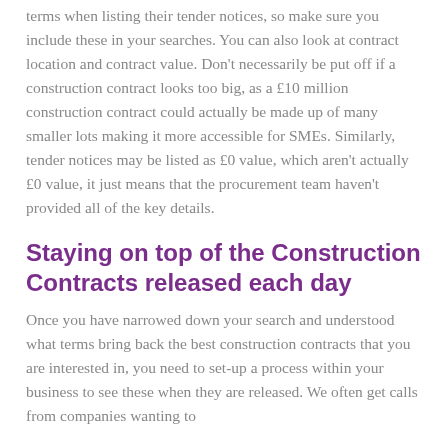terms when listing their tender notices, so make sure you include these in your searches. You can also look at contract location and contract value. Don't necessarily be put off if a construction contract looks too big, as a £10 million construction contract could actually be made up of many smaller lots making it more accessible for SMEs. Similarly, tender notices may be listed as £0 value, which aren't actually £0 value, it just means that the procurement team haven't provided all of the key details.
Staying on top of the Construction Contracts released each day
Once you have narrowed down your search and understood what terms bring back the best construction contracts that you are interested in, you need to set-up a process within your business to see these when they are released. We often get calls from companies wanting to